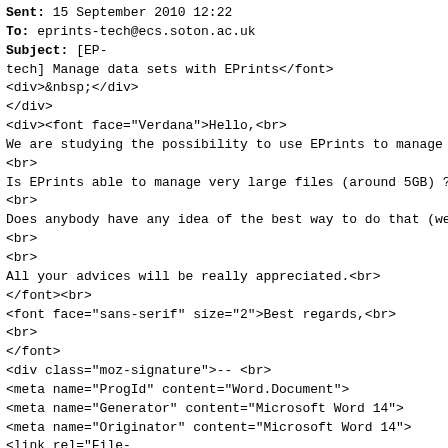<b>Sent:</b> 15 September 2010 12:22
<b>To:</b> eprints-tech@ecs.soton.ac.uk
<b>Subject:</b> [EP-
tech] Manage data sets with EPrints</font>
<div>&nbsp;</div>
</div>
<div><font face="Verdana">Hello,<br>
We are studying the possibility to use EPrints to manage
<br>
Is EPrints able to manage very large files (around 5GB) ?
<br>
Does anybody have any idea of the best way to do that (we
<br>
<br>
All your advices will be really appreciated.<br>
</font><br>
<font face="sans-serif" size="2">Best regards,<br>
<br>
</font>
<div class="moz-signature">-- <br>
<meta name="ProgId" content="Word.Document">
<meta name="Generator" content="Microsoft Word 14">
<meta name="Originator" content="Microsoft Word 14">
<link rel="File-
List" href="signature_josee_fichiers/filelist.xml">
<link rel="themeData" href="signature_josee_fichiers/ther
<link rel="colorSchemeMapping" href="signature_josee_fich
<style>
<!--
@font-face
        {font-family:Calibri]